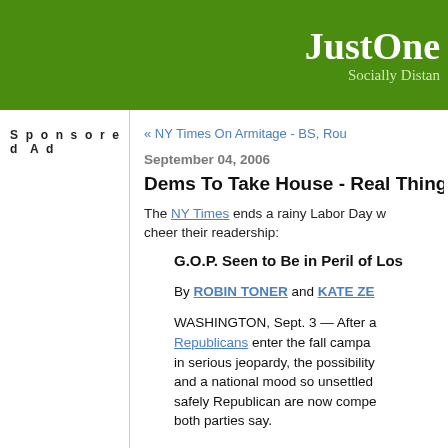JustOne (Socially Distan...)
Sponsored Ad
« NY Times On Armitage - BS, Rou...
September 04, 2006
Dems To Take House - Real Thing...
The NY Times ends a rainy Labor Day w... cheer their readership:
G.O.P. Seen to Be in Peril of Los...
By ROBIN TONER and KATE ZE...
WASHINGTON, Sept. 3 — After a... Republicans enter the fall campa... in serious jeopardy, the possibility... and a national mood so unsettled... safely Republican are now compe... both parties say.